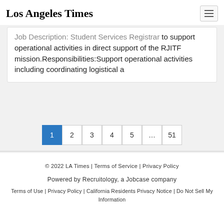Los Angeles Times
Job Description: Student Services Registrar to support operational activities in direct support of the RJITF mission.Responsibilities:Support operational activities including coordinating logistical a
1 2 3 4 5 ... 51
© 2022 LA Times | Terms of Service | Privacy Policy
Powered by Recruitology, a Jobcase company
Terms of Use | Privacy Policy | California Residents Privacy Notice | Do Not Sell My Information